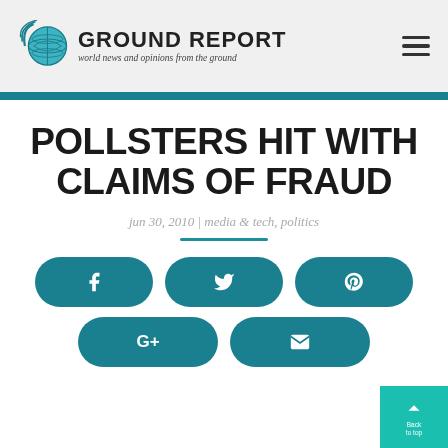GROUND REPORT — world news and opinions from the ground
POLLSTERS HIT WITH CLAIMS OF FRAUD
jun 30, 2010 | media & tech, politics
[Figure (screenshot): Social media share buttons: Facebook, Twitter, Pinterest, Google+, Email]